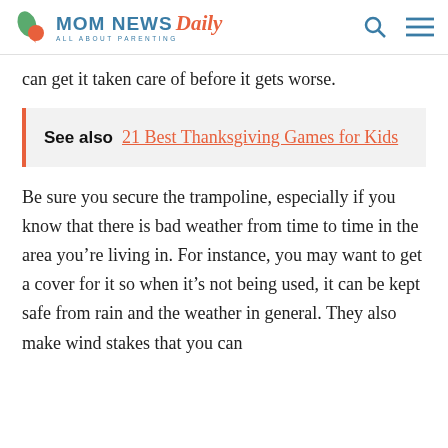MOM NEWS Daily ALL ABOUT PARENTING
can get it taken care of before it gets worse.
See also  21 Best Thanksgiving Games for Kids
Be sure you secure the trampoline, especially if you know that there is bad weather from time to time in the area you’re living in. For instance, you may want to get a cover for it so when it’s not being used, it can be kept safe from rain and the weather in general. They also make wind stakes that you can